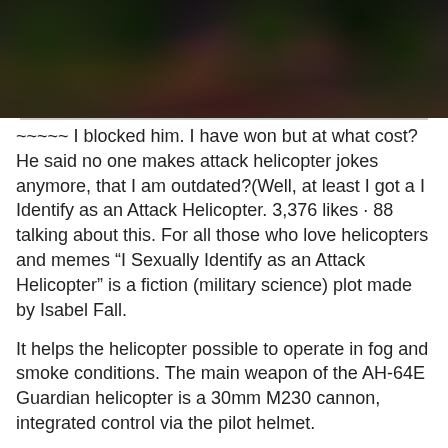[Figure (photo): Dark nature/foliage photograph banner at top of page]
~~~~~ I blocked him. I have won but at what cost? He said no one makes attack helicopter jokes anymore, that I am outdated?(Well, at least I got a I Identify as an Attack Helicopter. 3,376 likes · 88 talking about this. For all those who love helicopters and memes “I Sexually Identify as an Attack Helicopter” is a fiction (military science) plot made by Isabel Fall.
It helps the helicopter possible to operate in fog and smoke conditions. The main weapon of the AH-64E Guardian helicopter is a 30mm M230 cannon, integrated control via the pilot helmet.
Gymnasium uppsala guc